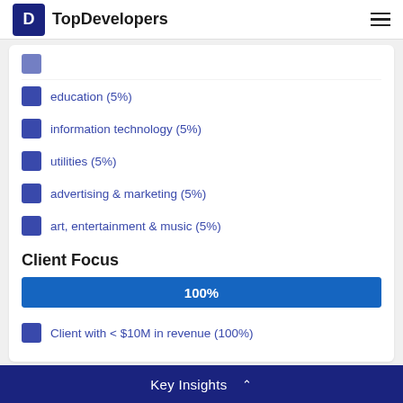TopDevelopers
education (5%)
information technology (5%)
utilities (5%)
advertising & marketing (5%)
art, entertainment & music (5%)
Client Focus
[Figure (bar-chart): Client Focus]
Client with < $10M in revenue (100%)
Portfolio
Key Insights ^